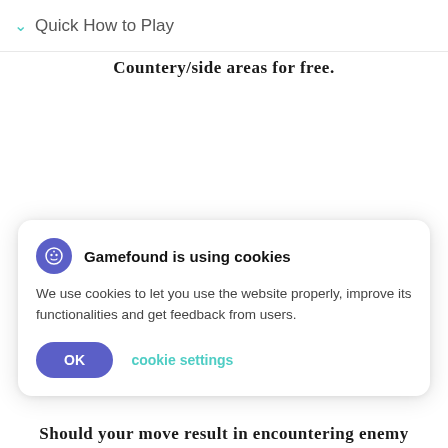Quick How to Play
Countery/side areas for free.
Gamefound is using cookies
We use cookies to let you use the website properly, improve its functionalities and get feedback from users.
OK  cookie settings
Should your move result in encountering enemy